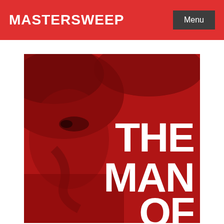MASTERSWEEP
Menu
[Figure (photo): Red-toned close-up photo of a person's face looking down, used as a book cover background. Large white bold text overlaid reads 'THE MAN OF' with the words stacked vertically on the right side of the image.]